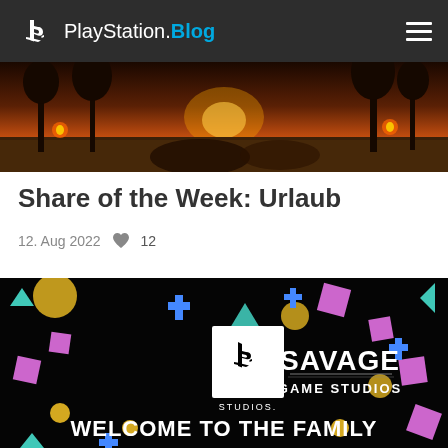PlayStation.Blog
[Figure (photo): Tropical beach sunset scene with palm trees and warm orange/golden light, partial view]
Share of the Week: Urlaub
12. Aug 2022  ♥ 12
[Figure (photo): PlayStation Studios and Savage Game Studios announcement graphic with colorful confetti shapes on black background. Text: WELCOME TO THE FAMILY]